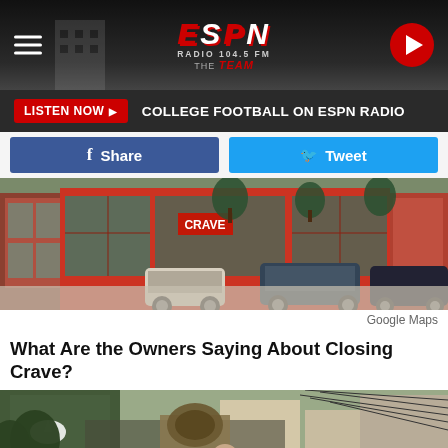ESPN Radio 104.5 FM The Team
LISTEN NOW   COLLEGE FOOTBALL ON ESPN RADIO
Share   Tweet
[Figure (photo): Street view photo of Crave restaurant exterior with red framing and large glass windows, cars parked in front]
Google Maps
What Are the Owners Saying About Closing Crave?
[Figure (photo): Person standing outside near a building, partial view]